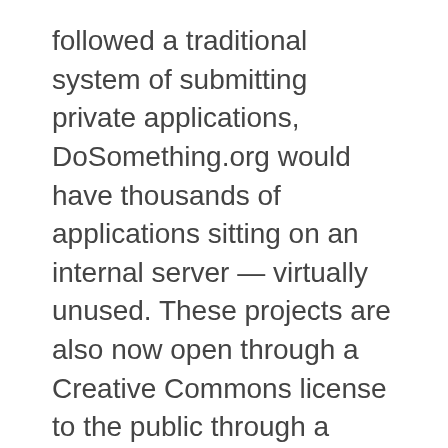followed a traditional system of submitting private applications, DoSomething.org would have thousands of applications sitting on an internal server — virtually unused. These projects are also now open through a Creative Commons license to the public through a projects API.
CASE 2: ATONEMENTFRIARS.ORG
— Franciscan Friars of the Atonement (FFA) Ave Maria Hour
From 1935 to 1969, the FFA had a very popular religious radio broadcast called the Ave Maria Hour, which consisted of the